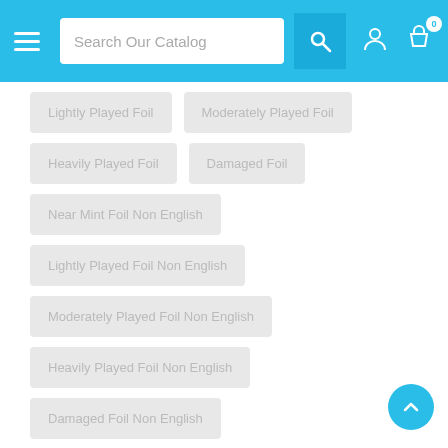Search Our Catalog
Lightly Played Foil
Moderately Played Foil
Heavily Played Foil
Damaged Foil
Near Mint Foil Non English
Lightly Played Foil Non English
Moderately Played Foil Non English
Heavily Played Foil Non English
Damaged Foil Non English
Units